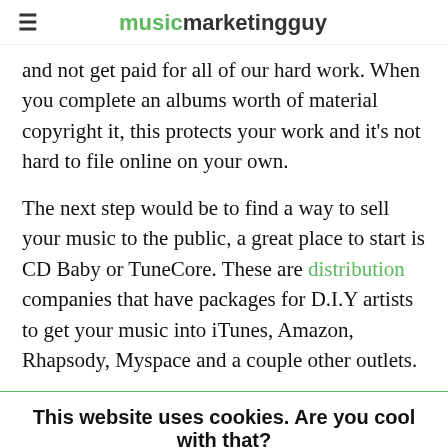musicmarketingguy
and not get paid for all of our hard work. When you complete an albums worth of material copyright it, this protects your work and it's not hard to file online on your own.
The next step would be to find a way to sell your music to the public, a great place to start is CD Baby or TuneCore. These are distribution companies that have packages for D.I.Y artists to get your music into iTunes, Amazon, Rhapsody, Myspace and a couple other outlets.
This website uses cookies. Are you cool with that?
Accept